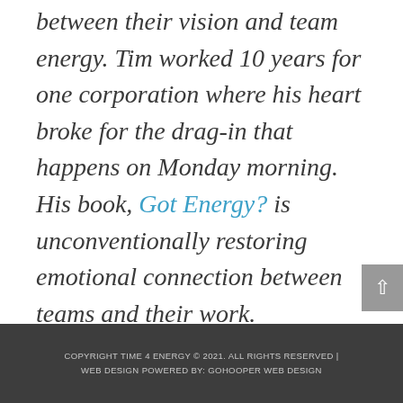between their vision and team energy. Tim worked 10 years for one corporation where his heart broke for the drag-in that happens on Monday morning. His book, Got Energy? is unconventionally restoring emotional connection between teams and their work.
COPYRIGHT TIME 4 ENERGY © 2021. ALL RIGHTS RESERVED | WEB DESIGN POWERED BY: GOHOOPER WEB DESIGN